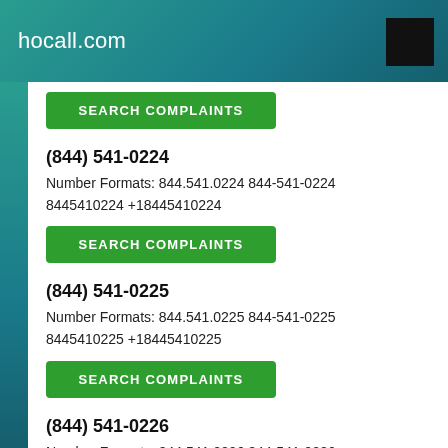hocall.com
(844) 541-0224
Number Formats: 844.541.0224 844-541-0224 8445410224 +18445410224
SEARCH COMPLAINTS
(844) 541-0225
Number Formats: 844.541.0225 844-541-0225 8445410225 +18445410225
SEARCH COMPLAINTS
(844) 541-0226
Number Formats: 844.541.0226 844-541-0226 8445410226 +18445410226
SEARCH COMPLAINTS